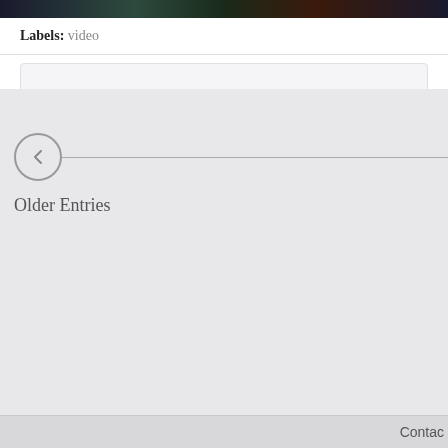[Figure (photo): Dark photo strip at top of page showing blurry nighttime scene with colored lights (green, red) on dark background]
Labels: video
Older Entries
Contac